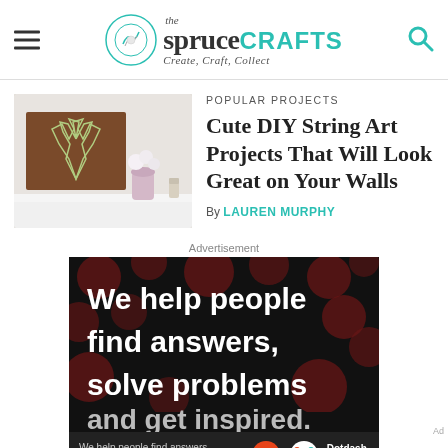the spruce CRAFTS — Create, Craft, Collect
POPULAR PROJECTS
Cute DIY String Art Projects That Will Look Great on Your Walls
By LAUREN MURPHY
[Figure (photo): A wooden board with antler string art decoration, a pink vase with white flowers, and small glass bottles on a white shelf]
Advertisement
[Figure (screenshot): Advertisement banner with dark background with bokeh red dots, bold white text reading 'We help people find answers, solve problems' and partial third line. Bottom bar shows 'We help people find answers, solve problems and get inspired.' with Dotdash Meredith logo.]